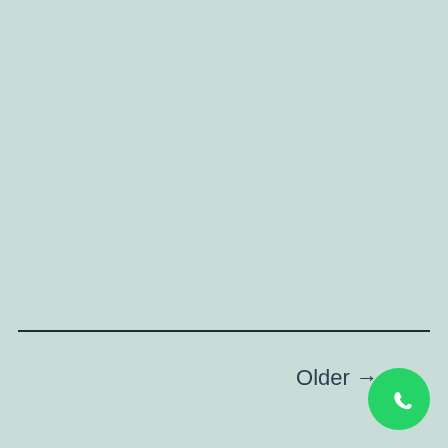[Figure (other): Horizontal dark divider line spanning most of the page width]
Older →
[Figure (logo): WhatsApp green circular button with phone handset icon in white]